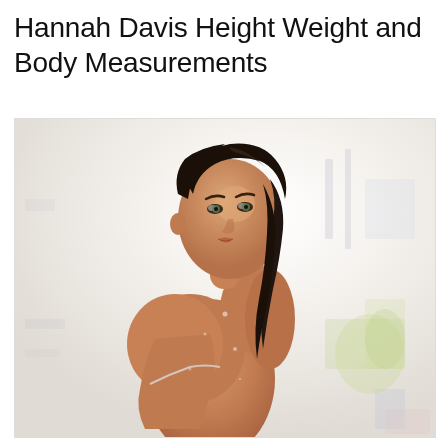Hannah Davis Height Weight and Body Measurements
[Figure (photo): Photo of Hannah Davis, a model with wet dark hair pulled back, looking over her shoulder, wearing a minimal bikini top, against a bright blurred background]